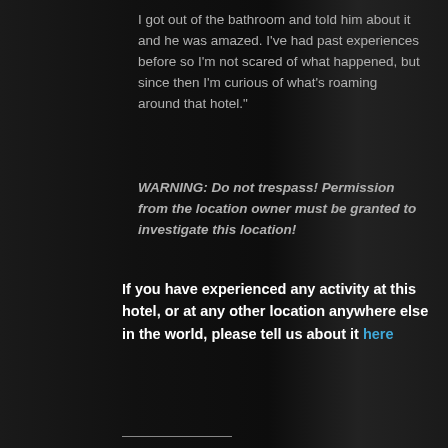I got out of the bathroom and told him about it and he was amazed. I've had past experiences before so I'm not scared of what happened, but since then I'm curious of what's roaming around that hotel."
WARNING: Do not trespass! Permission from the location owner must be granted to investigate this location!
If you have experienced any activity at this hotel, or at any other location anywhere else in the world, please tell us about it here
Share this:
[Figure (infographic): Four social media share buttons: Twitter (blue bird icon), Facebook (blue f icon), Reddit (light grey alien icon), LinkedIn (blue in icon)]
Loading...